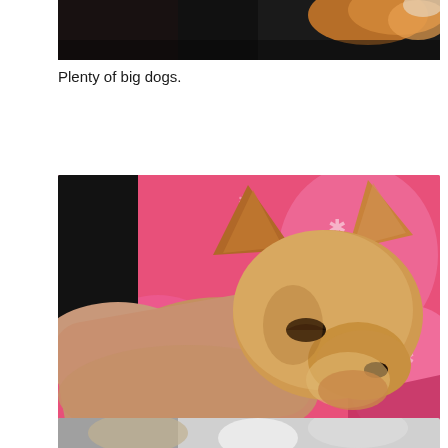[Figure (photo): Cropped top portion of a photo showing big dogs, dark background with fur visible]
Plenty of big dogs.
[Figure (photo): A small Chihuahua puppy resting on a person's arm on a pink patterned blanket, close-up photo]
Plenty of little dogs.
[Figure (photo): Partial bottom of page showing the top edge of another photo with light-colored dogs]